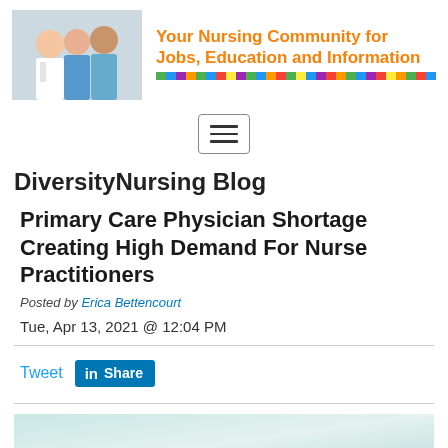[Figure (photo): Banner image showing three healthcare professionals (a doctor in white coat and two nurses in scrubs) with the text 'Your Nursing Community for Jobs, Education and Information' in orange, followed by a multicolored pixel bar]
[Figure (other): Hamburger menu navigation button with three horizontal lines inside a rounded rectangle border]
DiversityNursing Blog
Primary Care Physician Shortage Creating High Demand For Nurse Practitioners
Posted by Erica Bettencourt
Tue, Apr 13, 2021 @ 12:04 PM
Tweet  Share
[Figure (photo): Partial preview of an article image with a light teal/green clinical background]